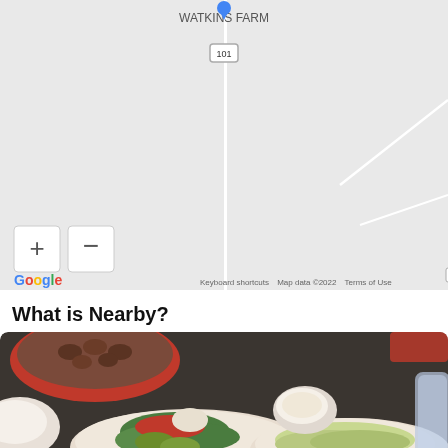[Figure (map): Google Maps view showing Watkins Farm area with road 101, zoom controls (+/-), Map/Satellite toggle, Google logo, and footer text 'Keyboard shortcuts Map data ©2022 Terms of Use']
What is Nearby?
[Figure (photo): Photo of food dishes on a table including a sandwich/burger on a plate with lettuce, tomato, and pickles, a side salad, a small white bowl with sauce, a red bowl with beans/nuts, and a drink glass partially visible]